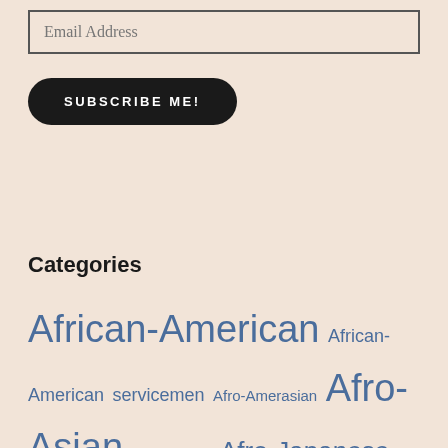Email Address
SUBSCRIBE ME!
Categories
African-American African-American servicemen Afro-Amerasian Afro-Asian Afro-Filipino Afro-Japanese Afro-Korean Afro-Okinawan Afro-Vietnamese Amerasian アメラジアン